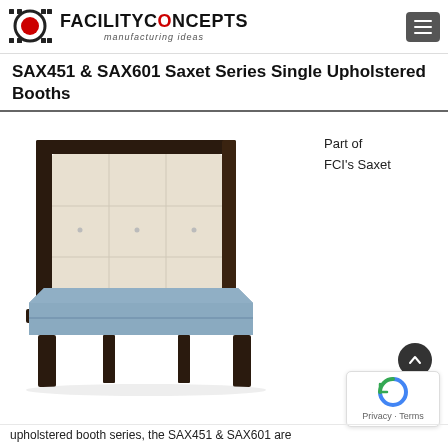FACILITY CONCEPTS manufacturing ideas
SAX451 & SAX601 Saxet Series Single Upholstered Booths
[Figure (photo): A single upholstered booth with a tall quilted light beige/cream backrest and blue seat cushion, dark wooden frame and legs, shown at an angle on a white background.]
Part of FCI's Saxet
upholstered booth series, the SAX451 & SAX601 are